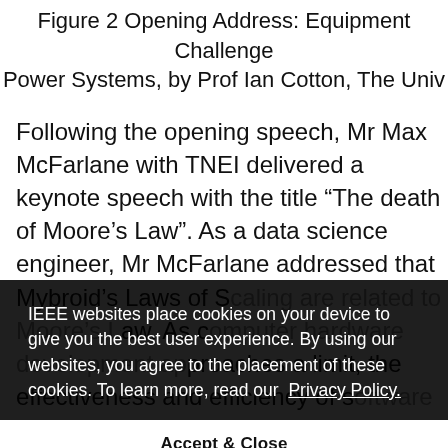Figure 2 Opening Address: Equipment Challenges for Power Systems, by Prof Ian Cotton, The University of Manchester
Following the opening speech, Mr Max McFarlane with TNEI delivered a keynote speech with the title “The death of Moore’s Law”. As a data science engineer, Mr McFarlane addressed that Mybroid’s Laws of Scaling are related to Moore’s Law. As computer hardware development approaches a limit, the effectiveness and efficiency of software tools has become important. He then demonstrated this point using a power system analysis example, where novel data science